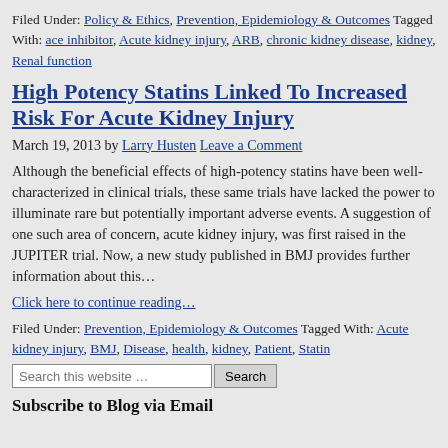Filed Under: Policy & Ethics, Prevention, Epidemiology & Outcomes Tagged With: ace inhibitor, Acute kidney injury, ARB, chronic kidney disease, kidney, Renal function
High Potency Statins Linked To Increased Risk For Acute Kidney Injury
March 19, 2013 by Larry Husten Leave a Comment
Although the beneficial effects of high-potency statins have been well-characterized in clinical trials, these same trials have lacked the power to illuminate rare but potentially important adverse events. A suggestion of one such area of concern, acute kidney injury, was first raised in the JUPITER trial. Now, a new study published in BMJ provides further information about this…
Click here to continue reading…
Filed Under: Prevention, Epidemiology & Outcomes Tagged With: Acute kidney injury, BMJ, Disease, health, kidney, Patient, Statin
Search this website …
Subscribe to Blog via Email